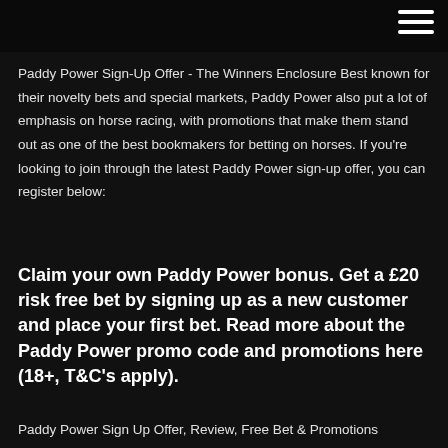Paddy Power Sign-Up Offer - The Winners Enclosure Best known for their novelty bets and special markets, Paddy Power also put a lot of emphasis on horse racing, with promotions that make them stand out as one of the best bookmakers for betting on horses. If you're looking to join through the latest Paddy Power sign-up offer, you can register below:
Claim your own Paddy Power bonus. Get a £20 risk free bet by signing up as a new customer and place your first bet. Read more about the Paddy Power promo code and promotions here (18+, T&C's apply).
Paddy Power Sign Up Offer, Review, Free Bet & Promotions